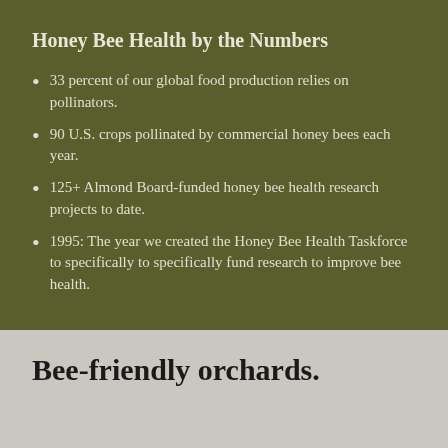Honey Bee Health by the Numbers
33 percent of our global food production relies on pollinators.
90 U.S. crops pollinated by commercial honey bees each year.
125+ Almond Board-funded honey bee health research projects to date.
1995: The year we created the Honey Bee Health Taskforce to specifically to specifically fund research to improve bee health.
Bee-friendly orchards.